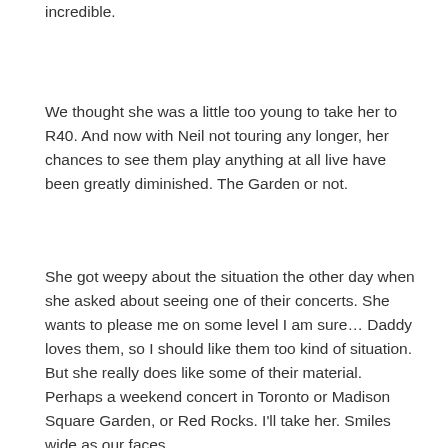incredible.
We thought she was a little too young to take her to R40. And now with Neil not touring any longer, her chances to see them play anything at all live have been greatly diminished. The Garden or not.
She got weepy about the situation the other day when she asked about seeing one of their concerts. She wants to please me on some level I am sure... Daddy loves them, so I should like them too kind of situation. But she really does like some of their material. Perhaps a weekend concert in Toronto or Madison Square Garden, or Red Rocks. I'll take her. Smiles wide as our faces.